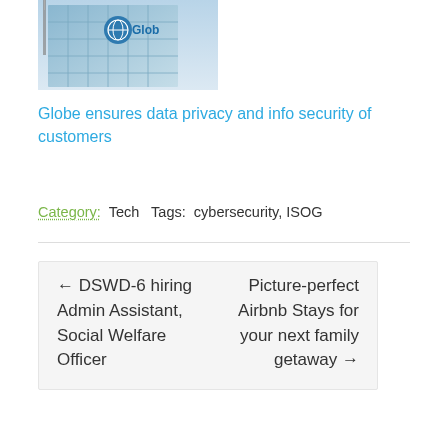[Figure (photo): Globe telecommunications building exterior with glass facade reflecting sky, Globe logo visible]
Globe ensures data privacy and info security of customers
Category: Tech  Tags: cybersecurity, ISOG
← DSWD-6 hiring Admin Assistant, Social Welfare Officer
Picture-perfect Airbnb Stays for your next family getaway →